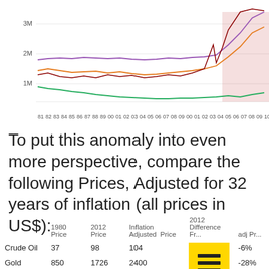[Figure (line-chart): Multi-line time series chart showing prices from 1981 to 2012. Lines in dark red/maroon, purple, orange, and green. Pink/red shaded bars in background for recent years. Y-axis shows 1M, 2M, 3M. X-axis shows years: 81, 82, 83, 84, 85, 86, 87, 88, 89, 00, 01, 02, 03, 04, 05, 06, 07, 08, 09, 00, 01, 02, 03, 04, 05, 06, 07, 08, 09, 10, 11, 12]
To put this anomaly into even more perspective, compare the following Prices, Adjusted for 32 years of inflation (all prices in US$):
|  | 1980 Price | 2012 Price | Inflation Adjusted  Price | 2012 Difference Fr... | adj Pr... |
| --- | --- | --- | --- | --- | --- |
| Crude Oil | 37 | 98 | 104 |  | -6% |
| Gold | 850 | 1726 | 2400 |  | -28% |
| CCI | 250 | 594 | 706 |  | -16% |